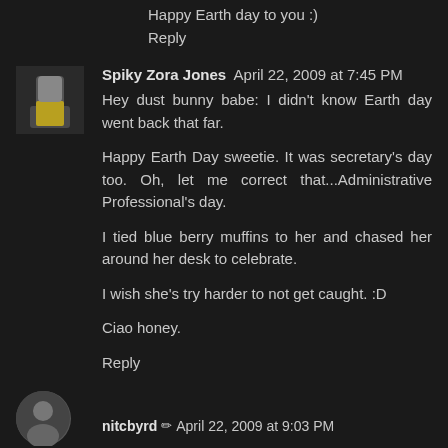Happy Earth day to you :)
Reply
Spiky Zora Jones  April 22, 2009 at 7:45 PM
Hey dust bunny babe: I didn't know Earth day went back that far.
Happy Earth Day sweetie. It was secretary's day too. Oh, let me correct that...Administrative Professional's day.
I tied blue berry muffins to her and chased her around her desk to celebrate.
I wish she's try harder to not get caught. :D
Ciao honey.
Reply
nitcbyrd  April 22, 2009 at 9:03 PM